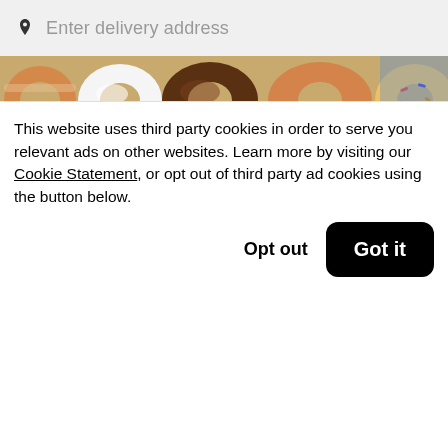Enter delivery address
[Figure (photo): Row of assorted donuts including powdered sugar, chocolate glazed, and sprinkle-covered donuts]
PURVÈ Donut Stop
New
$0.49 Delivery Fee • $
[Figure (photo): Red promotional banner with Offers badge in green, showing food items including a lemon]
This website uses third party cookies in order to serve you relevant ads on other websites. Learn more by visiting our Cookie Statement, or opt out of third party ad cookies using the button below.
Opt out
Got it